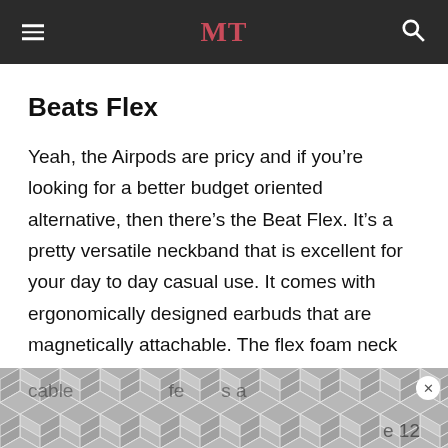MT
Beats Flex
Yeah, the Airpods are pricy and if you’re looking for a better budget oriented alternative, then there’s the Beat Flex. It’s a pretty versatile neckband that is excellent for your day to day casual use. It comes with ergonomically designed earbuds that are magnetically attachable. The flex foam neck cable with a slightly softer feel offers a better … e 12
[Figure (other): Advertisement banner overlay with hexagonal/cube pattern in gray tones with a close/dismiss button (x)]